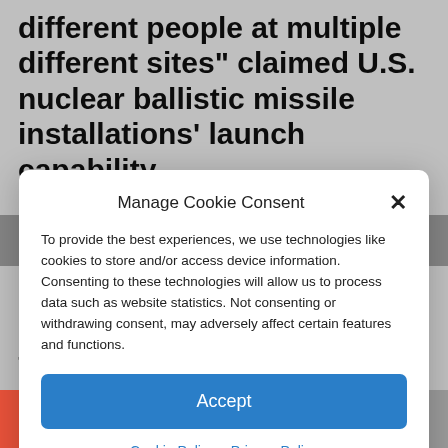different people at multiple different sites” claimed U.S. nuclear ballistic missile installations’ launch capability
Manage Cookie Consent
To provide the best experiences, we use technologies like cookies to store and/or access device information. Consenting to these technologies will allow us to process data such as website statistics. Not consenting or withdrawing consent, may adversely affect certain features and functions.
Accept
Cookie Policy  Privacy Policy
carriers are nuclear powered” Regan continues to explain, “There is credible